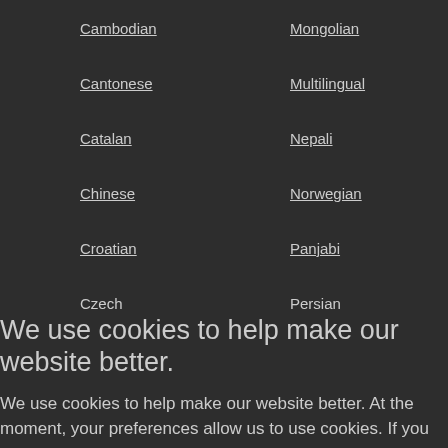Cambodian
Mongolian
Cantonese
Multilingual
Catalan
Nepali
Chinese
Norwegian
Croatian
Panjabi
Czech
Persian
We use cookies to help make our website better.
We use cookies to help make our website better. At the moment, your preferences allow us to use cookies. If you are happy with this please click here or simply continue to use our website. Otherwise find out more and amend your preferences here.